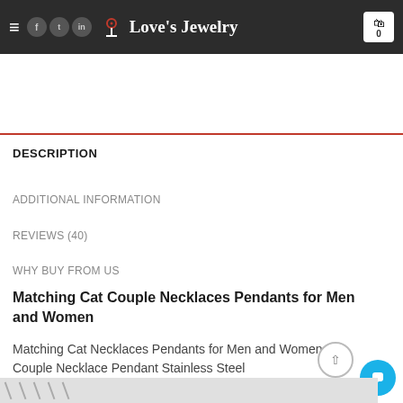Love's Jewelry
DESCRIPTION
ADDITIONAL INFORMATION
REVIEWS (40)
WHY BUY FROM US
Matching Cat Couple Necklaces Pendants for Men and Women
Matching Cat Necklaces Pendants for Men and Women Couple Necklace Pendant Stainless Steel